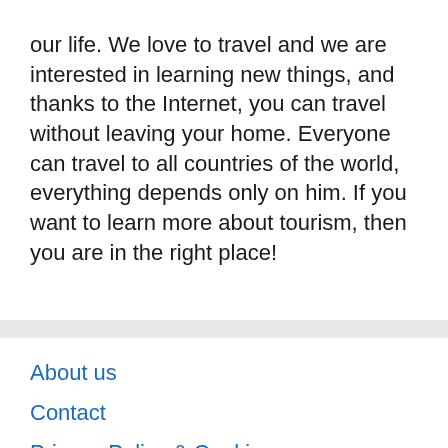our life. We love to travel and we are interested in learning new things, and thanks to the Internet, you can travel without leaving your home. Everyone can travel to all countries of the world, everything depends only on him. If you want to learn more about tourism, then you are in the right place!
About us
Contact
Privacy Policy & Cookies
ATTENTION TO RIGHT HOLDERS! All materials are posted on the site strictly for